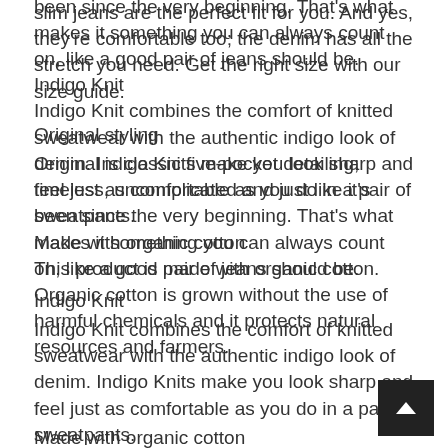slim jeans are the perfect fit for you. And yes, they're comfortable too; the denim has all the stretch you need. Get the right size with our size guide.
Original styling
Original is classic five-pocket detailing; timeless, uncomplicated and just like it's been since the very beginning. That's what makes it something you can always count on, like a good pair of jeans should be.
Indigo Knit
Indigo Knit combines the comfort of knitted sweatwear with the authentic indigo look of denim. Indigo Knits make you look sharp and feel just as comfortable as you do in a pair of sweatpants.
Made with organic cotton
This product is made with organic cotton. Organic cotton is grown without the use of harmful chemicals and it protects natural resources and farmers.